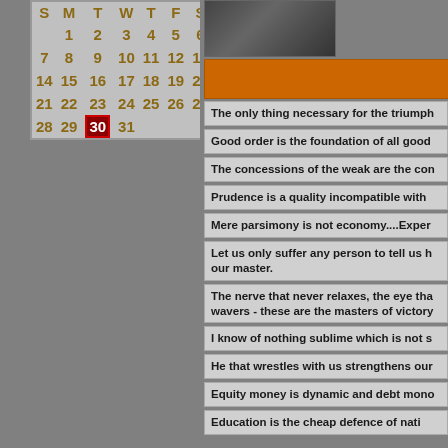| S | M | T | W | T | F | S |
| --- | --- | --- | --- | --- | --- | --- |
|  | 1 | 2 | 3 | 4 | 5 | 6 |
| 7 | 8 | 9 | 10 | 11 | 12 | 13 |
| 14 | 15 | 16 | 17 | 18 | 19 | 20 |
| 21 | 22 | 23 | 24 | 25 | 26 | 27 |
| 28 | 29 | 30 | 31 |  |  |  |
[Figure (photo): Black and white or sepia-toned portrait photograph of a person]
The only thing necessary for the triumph
Good order is the foundation of all good
The concessions of the weak are the con
Prudence is a quality incompatible with
Mere parsimony is not economy....Exper
Let us only suffer any person to tell us h our master.
The nerve that never relaxes, the eye tha wavers - these are the masters of victory
I know of nothing sublime which is not s
He that wrestles with us strengthens our
Equity money is dynamic and debt mono
Education is the cheap defence of nati